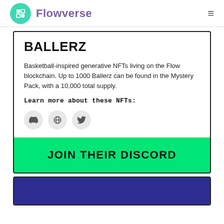Flowverse
BALLERZ
Basketball-inspired generative NFTs living on the Flow blockchain. Up to 1000 Ballerz can be found in the Mystery Pack, with a 10,000 total supply.
Learn more about these NFTs:
[Figure (illustration): Three circular icon buttons: Discord icon, Globe/website icon, Twitter bird icon]
JOIN THEIR DISCORD
[Figure (illustration): Dark blue/navy rectangle area at the bottom of the page, partially visible]